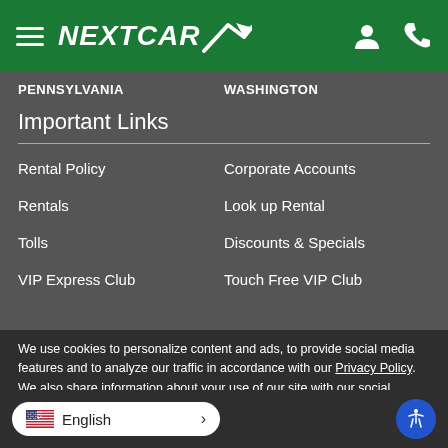NEXTCAR — navigation header with hamburger menu, logo, user icon, phone icon
PENNSYLVANIA    WASHINGTON
Important Links
Rental Policy
Corporate Accounts
Rentals
Look up Rental
Tolls
Discounts & Specials
VIP Express Club
Touch Free VIP Club
We use cookies to personalize content and ads, to provide social media features and to analyze our traffic in accordance with our Privacy Policy. We also share information about your use of our site with our social media, advertising, and analytics partners. By continuing to use this site, you agree to the use of cookies.
English